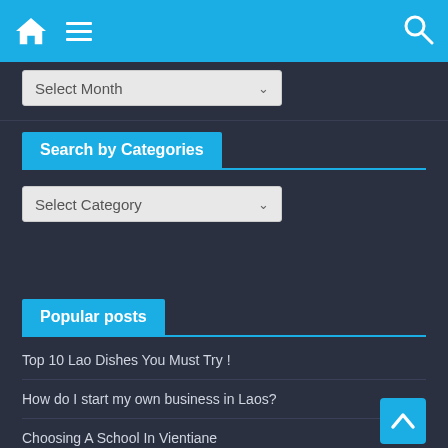Navigation bar with home icon, menu icon, and search icon
Select Month
Search by Categories
Select Category
Popular posts
Top 10 Lao Dishes You Must Try !
How do I start my own business in Laos?
Choosing A School In Vientiane
Medical Situation in Vientiane